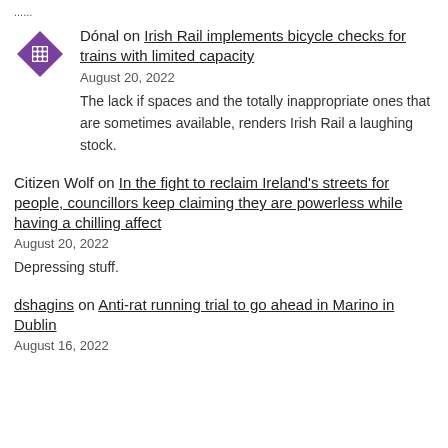......
Dónal on Irish Rail implements bicycle checks for trains with limited capacity
August 20, 2022
The lack if spaces and the totally inappropriate ones that are sometimes available, renders Irish Rail a laughing stock.
Citizen Wolf on In the fight to reclaim Ireland's streets for people, councillors keep claiming they are powerless while having a chilling affect
August 20, 2022
Depressing stuff.
dshagins on Anti-rat running trial to go ahead in Marino in Dublin
August 16, 2022